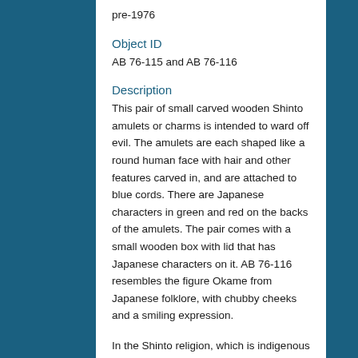pre-1976
Object ID
AB 76-115 and AB 76-116
Description
This pair of small carved wooden Shinto amulets or charms is intended to ward off evil. The amulets are each shaped like a round human face with hair and other features carved in, and are attached to blue cords. There are Japanese characters in green and red on the backs of the amulets. The pair comes with a small wooden box with lid that has Japanese characters on it. AB 76-116 resembles the figure Okame from Japanese folklore, with chubby cheeks and a smiling expression.
In the Shinto religion, which is indigenous to Japan, divinity is manifested within nature itself